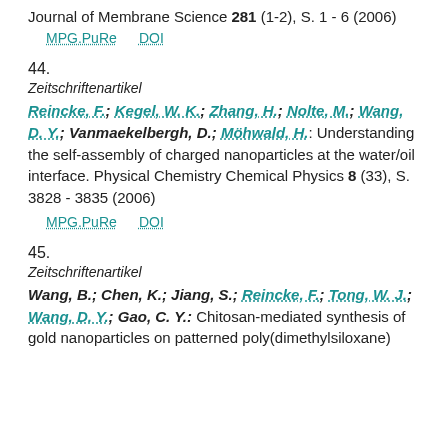Journal of Membrane Science 281 (1-2), S. 1 - 6 (2006)
MPG.PuRe   DOI
44.
Zeitschriftenartikel
Reincke, F.; Kegel, W. K.; Zhang, H.; Nolte, M.; Wang, D. Y.; Vanmaekelbergh, D.; Möhwald, H.: Understanding the self-assembly of charged nanoparticles at the water/oil interface. Physical Chemistry Chemical Physics 8 (33), S. 3828 - 3835 (2006)
MPG.PuRe   DOI
45.
Zeitschriftenartikel
Wang, B.; Chen, K.; Jiang, S.; Reincke, F.; Tong, W. J.; Wang, D. Y.; Gao, C. Y.: Chitosan-mediated synthesis of gold nanoparticles on patterned poly(dimethylsiloxane)